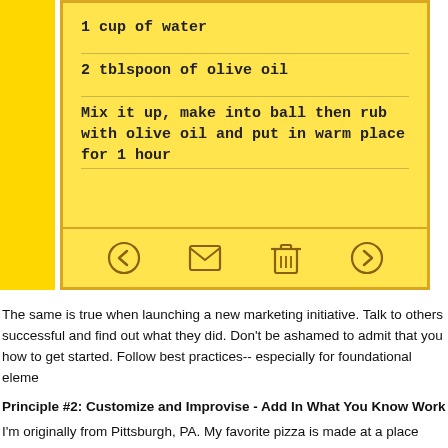[Figure (screenshot): Yellow notepad app screenshot showing recipe items: '1 cup of water', '2 tblspoon of olive oil', 'Mix it up, make into ball then rub with olive oil and put in warm place for 1 hour', with toolbar icons at bottom (back, email, trash, forward)]
The same is true when launching a new marketing initiative. Talk to others successful and find out what they did. Don't be ashamed to admit that you how to get started. Follow best practices-- especially for foundational eleme
Principle #2: Customize and Improvise - Add In What You Know Work
I'm originally from Pittsburgh, PA. My favorite pizza is made at a place calle Mmm... Pizza. They make a Barbecue Chicken Pizza that is out this world. enough times, I have learned what ingredients they use to make it awesom chicken, green peppers, onions, K.C. Masterpiece Barbecue sauce, and fre